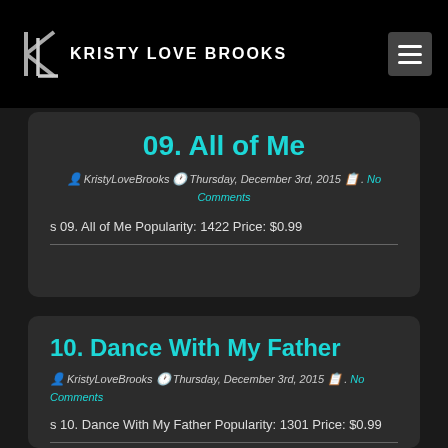KRISTY LOVE BROOKS
09. All of Me
KristyLoveBrooks  Thursday, December 3rd, 2015 . No Comments
s 09. All of Me Popularity: 1422 Price: $0.99
10. Dance With My Father
KristyLoveBrooks  Thursday, December 3rd, 2015 . No Comments
s 10. Dance With My Father Popularity: 1301 Price: $0.99